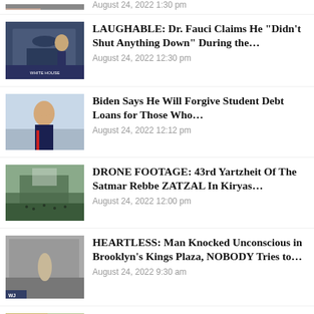[Figure (photo): Partial thumbnail at top, cropped]
August 24, 2022 1:30 pm
[Figure (photo): Press briefing room with officials]
LAUGHABLE: Dr. Fauci Claims He “Didn’t Shut Anything Down” During the…
August 24, 2022 12:30 pm
[Figure (photo): Biden speaking outdoors]
Biden Says He Will Forgive Student Debt Loans for Those Who…
August 24, 2022 12:12 pm
[Figure (photo): Drone aerial shot of large crowd gathering]
DRONE FOOTAGE: 43rd Yartzheit Of The Satmar Rebbe ZATZAL In Kiryas…
August 24, 2022 12:00 pm
[Figure (photo): Street security camera footage]
HEARTLESS: Man Knocked Unconscious in Brooklyn’s Kings Plaza, NOBODY Tries to…
August 24, 2022 9:30 am
[Figure (photo): Partial thumbnail at bottom, cropped]
In The Wake Of Tragedies: Yeshivas Mir